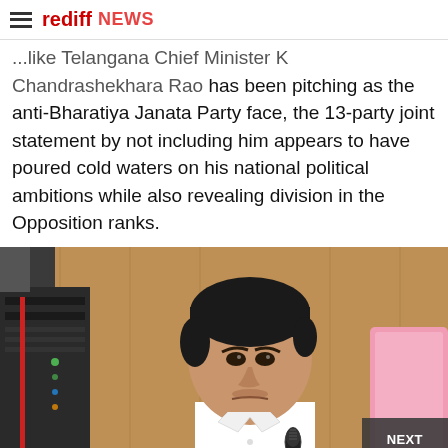rediff NEWS
...like Telangana Chief Minister K Chandrashekhara Rao has been pitching as the anti-Bharatiya Janata Party face, the 13-party joint statement by not including him appears to have poured cold waters on his national political ambitions while also revealing division in the Opposition ranks.
[Figure (photo): Photo of a man in a white shirt seated at a desk with a microphone in front of him, with equipment and a pink chair visible in the background. A 'NEXT ARTICLE' button overlay appears in the bottom-right corner of the image.]